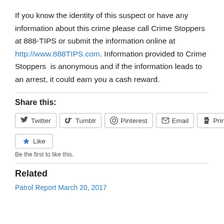If you know the identity of this suspect or have any information about this crime please call Crime Stoppers at 888-TIPS or submit the information online at http://www.888TIPS.com. Information provided to Crime Stoppers  is anonymous and if the information leads to an arrest, it could earn you a cash reward.
Share this:
[Figure (screenshot): Social sharing buttons: Twitter, Tumblr, Pinterest, Email, Print]
[Figure (screenshot): Like button with star icon]
Be the first to like this.
Related
Patrol Report March 20, 2017